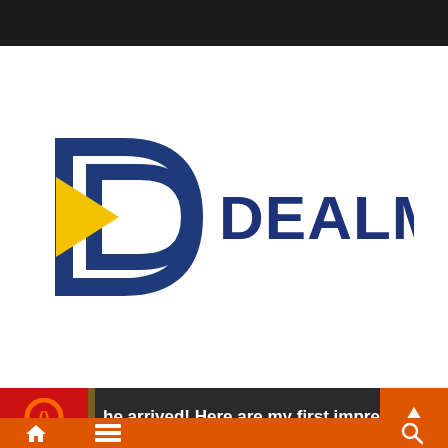[Figure (logo): Dealmakerz logo: a stylized double-D shape in navy blue with a yellow triangle arrow, and the text DEALMAKERZ in bold navy blue sans-serif]
he arrived! Here are my first impressions of
[Figure (infographic): Mobile app bottom navigation bar with home icon, menu icon, and search icon on orange background, plus ticker bar with red circle icon and article snippet text]